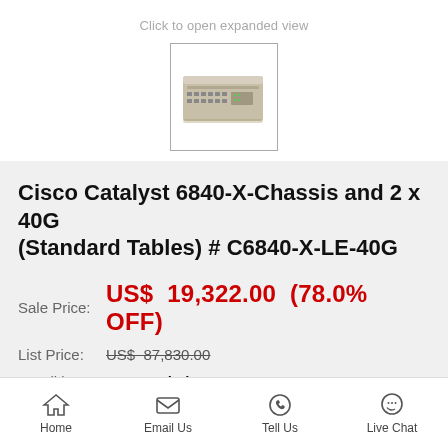Click to open expanded view
[Figure (photo): Thumbnail image of Cisco Catalyst 6840-X network switch chassis, beige/tan colored rack-mount device]
Cisco Catalyst 6840-X-Chassis and 2 x 40G (Standard Tables) # C6840-X-LE-40G
Sale Price: US$ 19,322.00 (78.0% OFF)
List Price: US$ 87,830.00
Condition: New Sealed
Home | Email Us | Tell Us | Live Chat